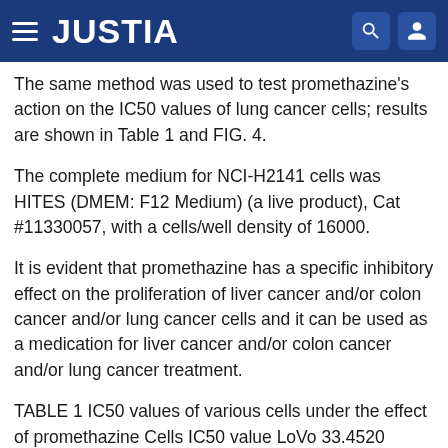JUSTIA
The same method was used to test promethazine's action on the IC50 values of lung cancer cells; results are shown in Table 1 and FIG. 4.
The complete medium for NCI-H2141 cells was HITES (DMEM: F12 Medium) (a live product), Cat #11330057, with a cells/well density of 16000.
It is evident that promethazine has a specific inhibitory effect on the proliferation of liver cancer and/or colon cancer and/or lung cancer cells and it can be used as a medication for liver cancer and/or colon cancer and/or lung cancer treatment.
TABLE 1 IC50 values of various cells under the effect of promethazine Cells IC50 value LoVo 33.4520 SKOV-3 100 HUH-7 31.3712 NCI-H661 100 NCI-H2141 34.6324